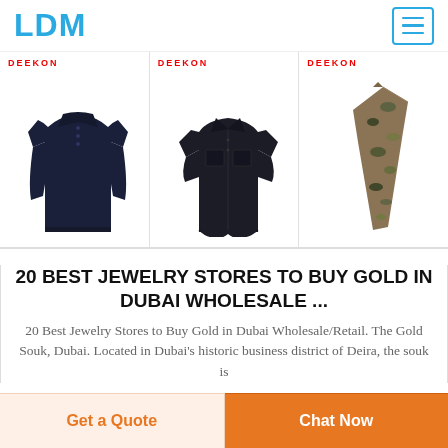LDM
[Figure (photo): Three product images from DEEKON brand: a dark navy long-sleeve henley shirt, a dark short-sleeve uniform/tactical shirt, and a camouflage/multicam tie or strap accessory]
20 BEST JEWELRY STORES TO BUY GOLD IN DUBAI WHOLESALE ...
20 Best Jewelry Stores to Buy Gold in Dubai Wholesale/Retail. The Gold Souk, Dubai. Located in Dubai's historic business district of Deira, the souk is